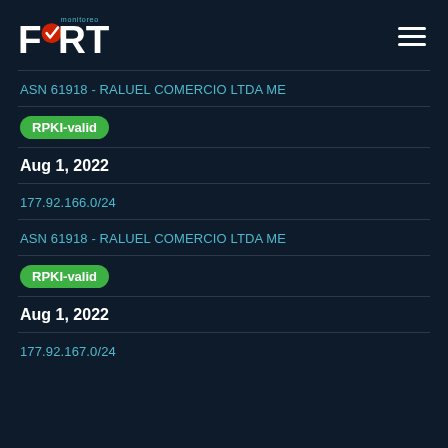[Figure (logo): FORT monitoreo logo with red checkmark]
ASN 61918 - RALUEL COMERCIO LTDA ME
RPKI-valid
Aug 1, 2022
177.92.166.0/24
ASN 61918 - RALUEL COMERCIO LTDA ME
RPKI-valid
Aug 1, 2022
177.92.167.0/24